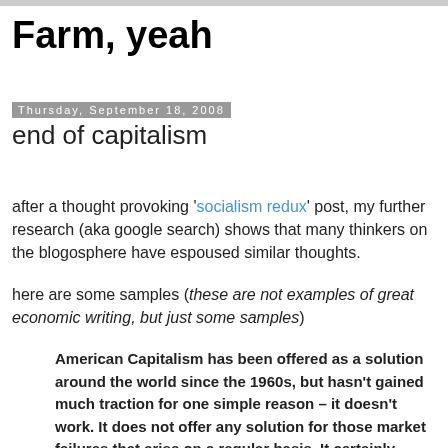Farm, yeah
Thursday, September 18, 2008
end of capitalism
after a thought provoking 'socialism redux' post, my further research (aka google search) shows that many thinkers on the blogosphere have espoused similar thoughts.
here are some samples (these are not examples of great economic writing, but just some samples)
American Capitalism has been offered as a solution around the world since the 1960s, but hasn't gained much traction for one simple reason – it doesn't work. It does not offer any solution for those market failures that arise on a regular basis. It certainly offers no hope for the largest market failure facing humanity today – that of Climate Change. We now see, through